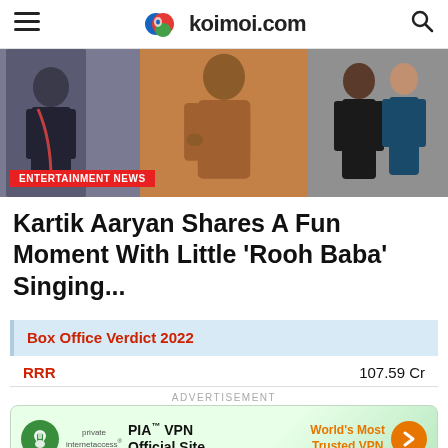koimoi.com
[Figure (photo): Three-panel photo strip showing people, with an 'ENTERTAINMENT NEWS' badge overlay at bottom left]
Kartik Aaryan Shares A Fun Moment With Little ‘Rooh Baba’ Singing...
Box Office Verdict 2022
| Film | Collection |
| --- | --- |
| RRR | 107.59 Cr |
ADVERTISEMENT
[Figure (other): PIA VPN advertisement banner: 'World's Most Trusted VPN' with private internet access logo and orange arrow button]